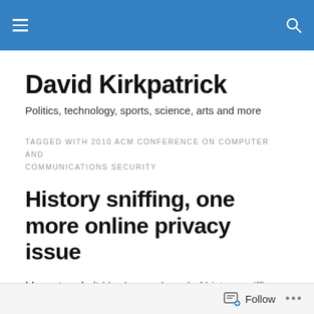David Kirkpatrick — site header navigation bar
David Kirkpatrick
Politics, technology, sports, science, arts and more
TAGGED WITH 2010 ACM CONFERENCE ON COMPUTER AND COMMUNICATIONS SECURITY
History sniffing, one more online privacy issue
I have to admit I had never heard of history sniffing before reading this story. Makes me doubly glad I use Chrome for
Follow ...